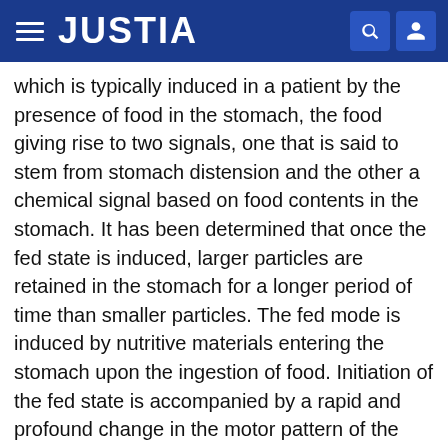JUSTIA
which is typically induced in a patient by the presence of food in the stomach, the food giving rise to two signals, one that is said to stem from stomach distension and the other a chemical signal based on food contents in the stomach. It has been determined that once the fed state is induced, larger particles are retained in the stomach for a longer period of time than smaller particles. The fed mode is induced by nutritive materials entering the stomach upon the ingestion of food. Initiation of the fed state is accompanied by a rapid and profound change in the motor pattern of the upper GI tract, over a period of 30 seconds to one minute. The change is observed almost simultaneously at all sites along the GI tract and occurs before the stomach contents have reached the distal small intestine. Once the fed state is established, the stomach generates 3-4 continuous and regular contractions per minute, similar